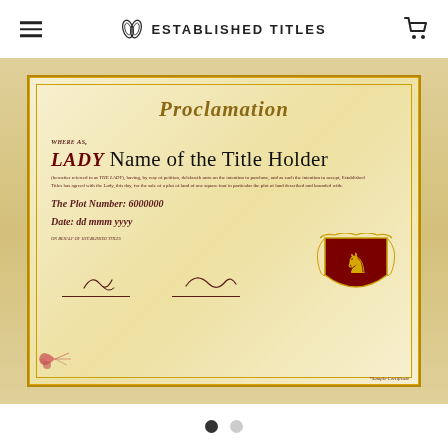ESTABLISHED TITLES
[Figure (illustration): Established Titles proclamation certificate on parchment background with gold border, showing 'Proclamation' title, LADY Name of the Title Holder, plot number 6000000, date dd mmm yyyy, two signatures, and a heraldic crest]
● ○